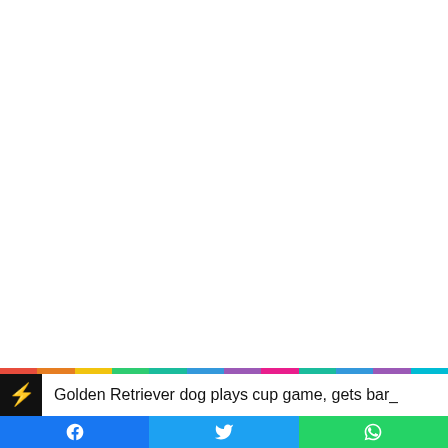[Figure (other): Large white/blank area taking up most of the page — likely a video or image placeholder]
Golden Retriever dog plays cup game, gets bar_
Facebook share button | Twitter share button | WhatsApp share button